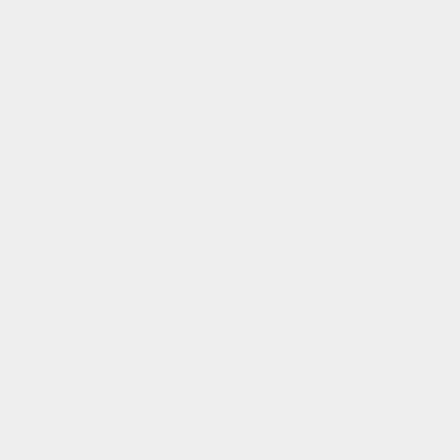[Figure (flowchart): A vertical flowchart showing shell command steps with + connectors. Nodes include: 'required packages', 'sudo apt install \', 'mxe-${ARCH}-w64-mingw32.static-qtbase \', 'mxe-${ARCH}-w64-mingw32.static-qtsvg \', 'mxe-${ARCH}-w64-mingw32.static-qttools \']